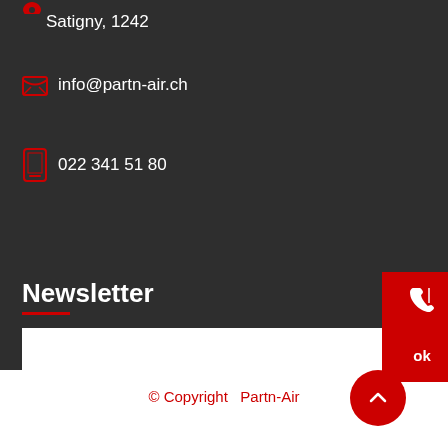Satigny, 1242
info@partn-air.ch
022 341 51 80
Newsletter
© Copyright   Partn-Air